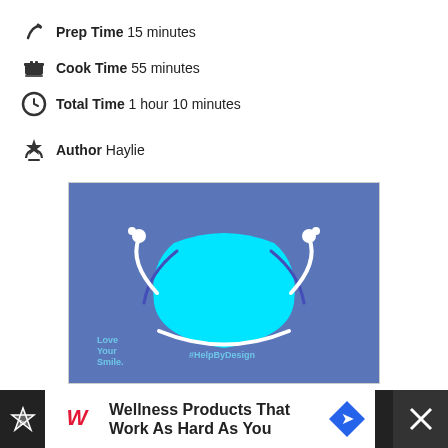Prep Time 15 minutes
Cook Time 55 minutes
Total Time 1 hour 10 minutes
Author Haylie
[Figure (illustration): Advertisement with blue background showing a cartoon face mask illustration with arms raised, text reading 'Love Your Smile.' and '#HelpByDesign']
[Figure (illustration): Bottom advertisement bar showing Walgreens logo and text 'Wellness Products That Work As Hard As You']